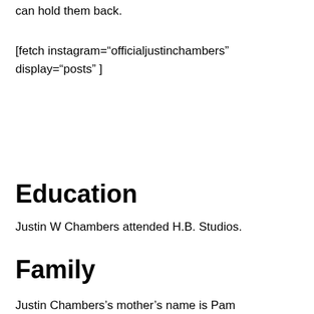can hold them back.
[fetch instagram="officialjustinchambers" display="posts" ]
Education
Justin W Chambers attended H.B. Studios.
Family
Justin Chambers's mother's name is Pam